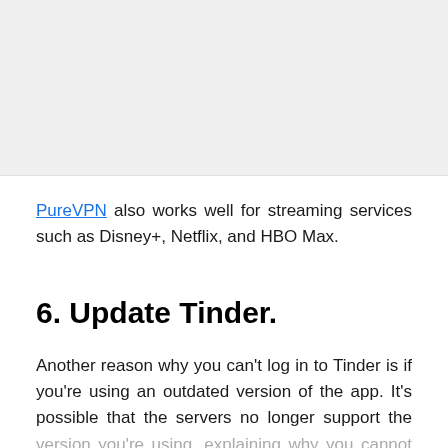[Figure (other): Image placeholder at top of page]
PureVPN also works well for streaming services such as Disney+, Netflix, and HBO Max.
6. Update Tinder.
Another reason why you can't log in to Tinder is if you're using an outdated version of the app. It's possible that the servers no longer support the version you're using, explaining why you cannot access your account.